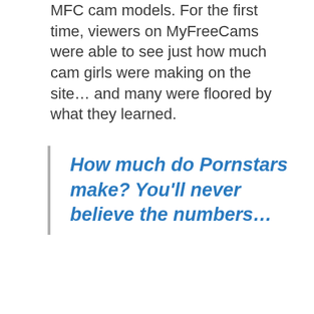MFC cam models. For the first time, viewers on MyFreeCams were able to see just how much cam girls were making on the site… and many were floored by what they learned.
How much do Pornstars make? You'll never believe the numbers…
It turns out, the #1 Miss MFC model earns over $100,000…per month.  The top 20 MFC models make at least $35,000 per month. And in order to get into the top 100 list, an MFC cam girl needs to make at least $16,000 per month.